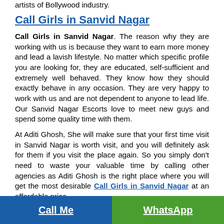artists of Bollywood industry.
Call Girls in Sanvid Nagar
Call Girls in Sanvid Nagar. The reason why they are working with us is because they want to earn more money and lead a lavish lifestyle. No matter which specific profile you are looking for, they are educated, self-sufficient and extremely well behaved. They know how they should exactly behave in any occasion. They are very happy to work with us and are not dependent to anyone to lead life. Our Sanvid Nagar Escorts love to meet new guys and spend some quality time with them.
At Aditi Ghosh, She will make sure that your first time visit in Sanvid Nagar is worth visit, and you will definitely ask for them if you visit the place again. So you simply don't need to waste your valuable time by calling other agencies as Aditi Ghosh is the right place where you will get the most desirable Call Girls in Sanvid Nagar at an affordable price.
Call Me | WhatsApp